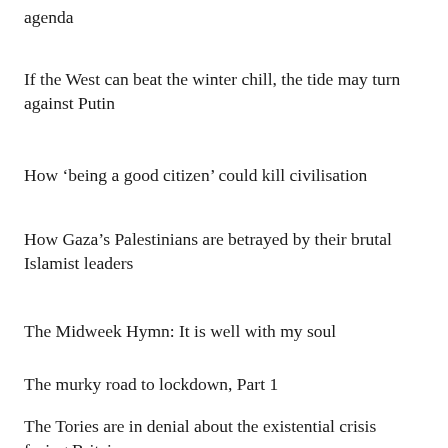agenda
If the West can beat the winter chill, the tide may turn against Putin
How ‘being a good citizen’ could kill civilisation
How Gaza’s Palestinians are betrayed by their brutal Islamist leaders
The Midweek Hymn: It is well with my soul
The murky road to lockdown, Part 1
The Tories are in denial about the existential crisis facing Britain